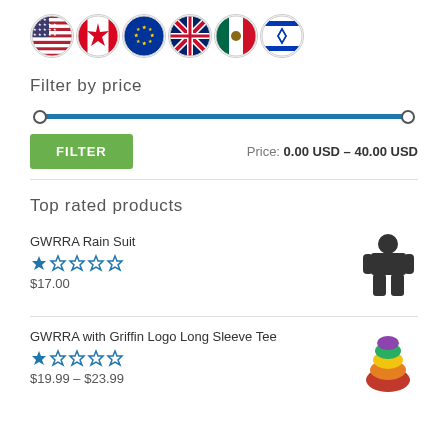[Figure (illustration): Row of six circular country flag icons: USA, Canada, EU, UK, Mexico, Israel]
Filter by price
[Figure (other): Price range slider, full width, blue track from min to max]
FILTER  Price: 0.00 USD – 40.00 USD
Top rated products
GWRRA Rain Suit
★☆☆☆☆
$17.00
GWRRA with Griffin Logo Long Sleeve Tee
★☆☆☆☆
$19.99 – $23.99